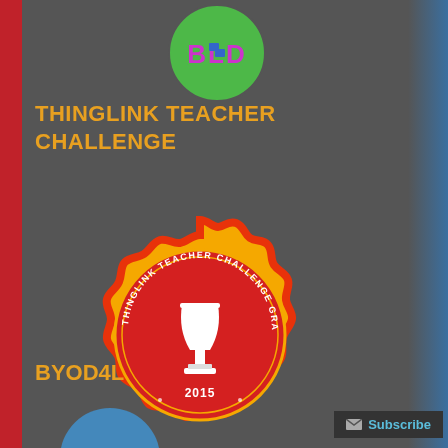[Figure (logo): BLD or similar logo in green circle at the top center]
THINGLINK TEACHER CHALLENGE
[Figure (illustration): ThingLink Teacher Challenge Graduate 2015 badge - yellow starburst seal with red circle containing white trophy/goblet, text reading THINGLINK TEACHER CHALLENGE GRADUATE around the circle and 2015 at the bottom]
BYOD4L
[Figure (logo): Blue avatar/logo partially visible at bottom]
Subscribe